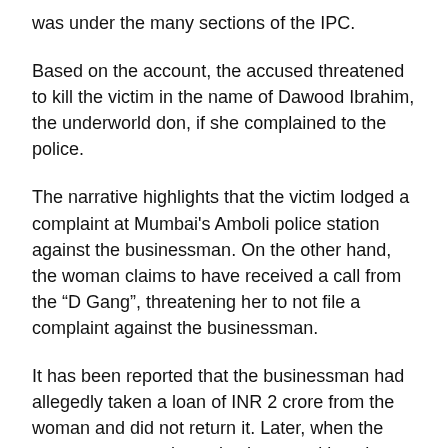was under the many sections of the IPC.
Based on the account, the accused threatened to kill the victim in the name of Dawood Ibrahim, the underworld don, if she complained to the police.
The narrative highlights that the victim lodged a complaint at Mumbai's Amboli police station against the businessman. On the other hand, the woman claims to have received a call from the “D Gang”, threatening her to not file a complaint against the businessman.
It has been reported that the businessman had allegedly taken a loan of INR 2 crore from the woman and did not return it. Later, when the woman attempted to voice her atrocities, the accused and the police associated with Ibrahim threatened to kill her if she told anyone about this.